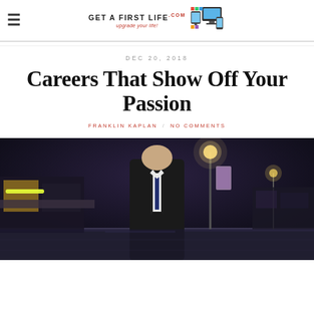Get A First Life — upgrade your life! [logo with computer icons]
DEC 20, 2018
Careers That Show Off Your Passion
FRANKLIN KAPLAN / NO COMMENTS
[Figure (photo): A man in a dark suit and tie standing outdoors at night on a lit street with storefronts and street lamps in the background.]